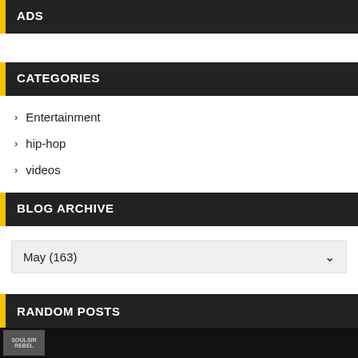ADS
CATEGORIES
Entertainment
hip-hop
videos
BLOG ARCHIVE
May (163)
RANDOM POSTS